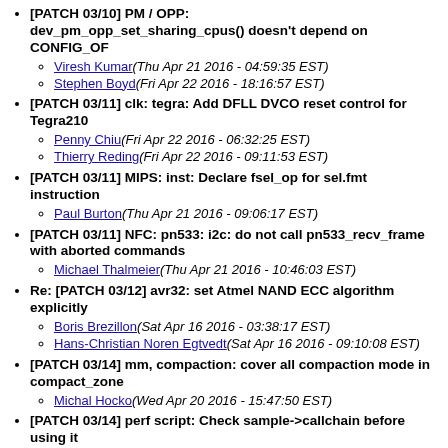[PATCH 03/10] PM / OPP: dev_pm_opp_set_sharing_cpus() doesn't depend on CONFIG_OF
Viresh Kumar(Thu Apr 21 2016 - 04:59:35 EST)
Stephen Boyd(Fri Apr 22 2016 - 18:16:57 EST)
[PATCH 03/11] clk: tegra: Add DFLL DVCO reset control for Tegra210
Penny Chiu(Fri Apr 22 2016 - 06:32:25 EST)
Thierry Reding(Fri Apr 22 2016 - 09:11:53 EST)
[PATCH 03/11] MIPS: inst: Declare fsel_op for sel.fmt instruction
Paul Burton(Thu Apr 21 2016 - 09:06:17 EST)
[PATCH 03/11] NFC: pn533: i2c: do not call pn533_recv_frame with aborted commands
Michael Thalmeier(Thu Apr 21 2016 - 10:46:03 EST)
Re: [PATCH 03/12] avr32: set Atmel NAND ECC algorithm explicitly
Boris Brezillon(Sat Apr 16 2016 - 03:38:17 EST)
Hans-Christian Noren Egtvedt(Sat Apr 16 2016 - 09:10:08 EST)
[PATCH 03/14] mm, compaction: cover all compaction mode in compact_zone
Michal Hocko(Wed Apr 20 2016 - 15:47:50 EST)
[PATCH 03/14] perf script: Check sample->callchain before using it